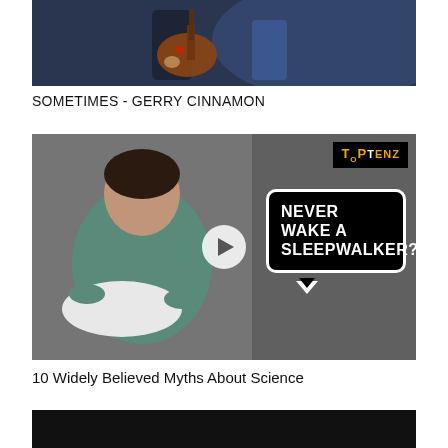[Figure (photo): A person playing a guitar on a dark stage, blue-toned lighting]
SOMETIMES - GERRY CINNAMON
[Figure (screenshot): TopTenz video thumbnail showing a person sleepwalking holding a pillow, with speech bubble text 'NEVER WAKE A SLEEPWALKER?' and a play button in the center]
10 Widely Believed Myths About Science
[Figure (photo): Partial dark/black image at bottom of page, beginning of another video thumbnail]